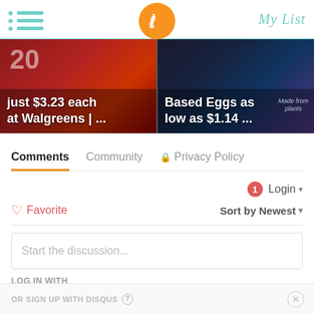[Figure (screenshot): Website header bar with hamburger menu dots and lines in teal, centered orange circular logo with cursive L, and 'My List' text in teal cursive on right]
[Figure (screenshot): Two promotional image cards side by side. Left card shows 'just $3.23 each at Walgreens | ...' on dark red/brown background. Right card shows 'Based Eggs as low as $1.14 ...' with 'Made from plants' text on dark background.]
Comments  Community  🔒 Privacy Policy
1  Login ▾
♡ Favorite  Sort by Newest ▾
Start the discussion...
LOG IN WITH
[Figure (screenshot): Social login icons: Disqus (blue speech bubble with D), Facebook (dark blue circle with f), Twitter (cyan circle with bird), Google (red circle with G)]
OR SIGN UP WITH DISQUS ?